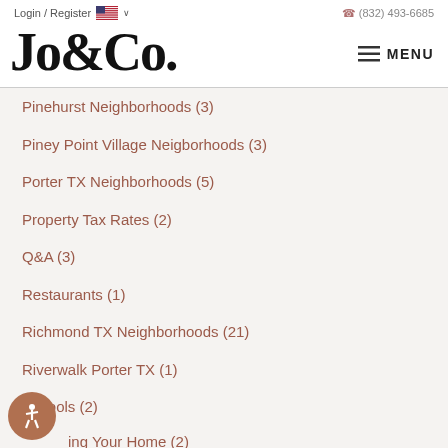Login / Register  🇺🇸 ∨   (832) 493-6685
Jo&Co.
Pinehurst Neighborhoods  (3)
Piney Point Village Neigborhoods  (3)
Porter TX Neighborhoods  (5)
Property Tax Rates  (2)
Q&A  (3)
Restaurants  (1)
Richmond TX Neighborhoods  (21)
Riverwalk Porter TX  (1)
Schools  (2)
ing Your Home  (2)
Shenandoah Neighborhoods  (3)